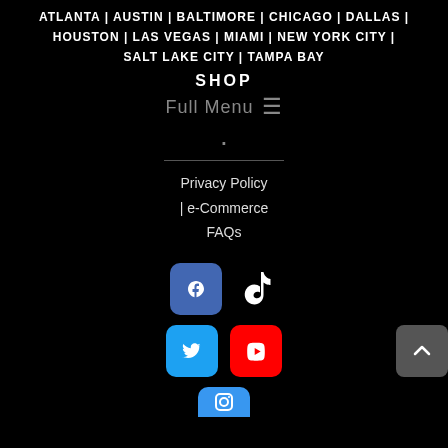ATLANTA | AUSTIN | BALTIMORE | CHICAGO | DALLAS | HOUSTON | LAS VEGAS | MIAMI | NEW YORK CITY | SALT LAKE CITY | TAMPA BAY
SHOP
Full Menu ≡
.
Privacy Policy | e-Commerce FAQs
[Figure (infographic): Social media icons: Facebook (blue rounded square), TikTok (dark logo), Twitter (light blue rounded square), YouTube (red rounded square), Instagram (blue rounded square), and a scroll-to-top button (dark grey rounded square with up caret)]